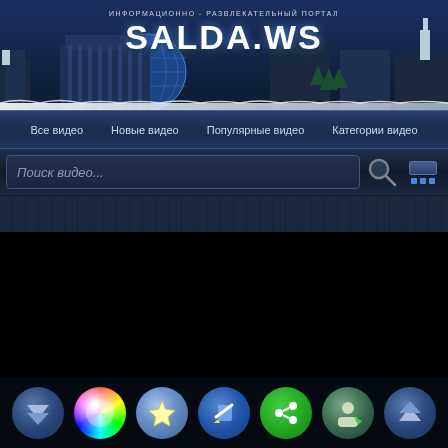SALDA.WS — ИНФОРМАЦИОННО-РАЗВЛЕКАТЕЛЬНЫЙ ПОРТАЛ
Все видео  Новые видео  Популярные видео  Категории видео
Поиск видео...
[Figure (screenshot): Dark blue video content area with vertical stripe pattern and right-pointing chevron arrow]
Buying An $18,000 House: Inside America's Cheap Old Houses
[Figure (screenshot): Black video player area]
[Figure (infographic): Bottom toolbar with 7 circular icon buttons: blue down-arrow, color wheel, star, pencil/edit, share (green), person, blue up-arrow]